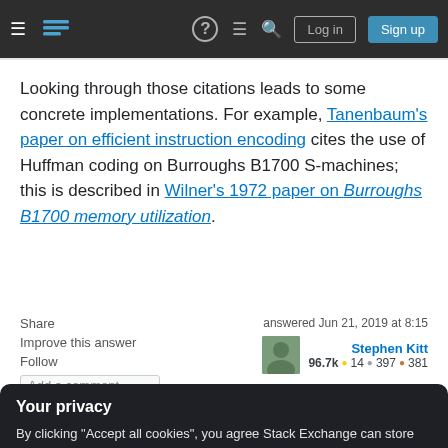Stack Exchange navigation bar with hamburger menu, logo, help, feed, search icons, Log in and Sign up buttons
Looking through those citations leads to some concrete implementations. For example, Tanenbaum's paper on efficient instruction encoding cites the use of Huffman coding on Burroughs B1700 S-machines; this is described in Wilner's 1972 paper on Burroughs B1700 memory utilization.
Share  Improve this answer  Follow  Add a comment
answered Jun 21, 2019 at 8:15
Stephen Kitt
96.7k  14  397  381
Your privacy
By clicking "Accept all cookies", you agree Stack Exchange can store cookies on your device and disclose information in accordance with our Cookie Policy.
Accept all cookies  Customize settings
(like "the", "and") which are directly encoded by